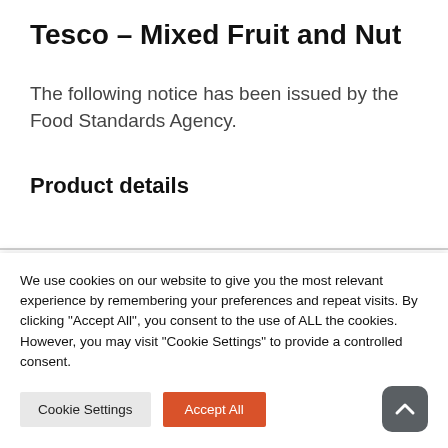Tesco – Mixed Fruit and Nut
The following notice has been issued by the Food Standards Agency.
Product details
We use cookies on our website to give you the most relevant experience by remembering your preferences and repeat visits. By clicking "Accept All", you consent to the use of ALL the cookies. However, you may visit "Cookie Settings" to provide a controlled consent.